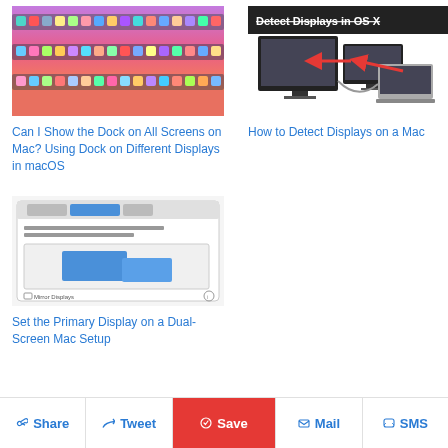[Figure (screenshot): macOS desktop showing Dock with colorful app icons across multiple rows on a pink/purple/blue gradient wallpaper]
Can I Show the Dock on All Screens on Mac? Using Dock on Different Displays in macOS
[Figure (screenshot): Screenshot showing 'Detect Displays in OS X' with two monitors and a MacBook connected by cable with a red arrow]
How to Detect Displays on a Mac
[Figure (screenshot): macOS Display Arrangement settings panel showing two blue rectangles representing monitors with a Mirror Displays checkbox]
Set the Primary Display on a Dual-Screen Mac Setup
Share   Tweet   Save   Mail   SMS